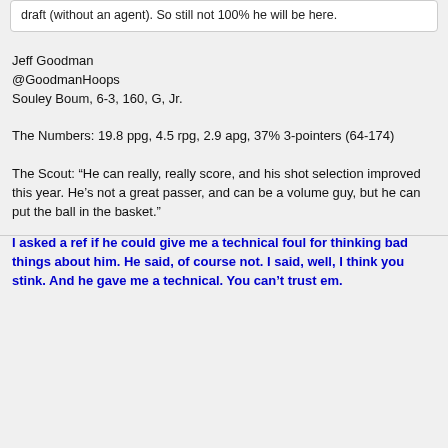draft (without an agent). So still not 100% he will be here.
Jeff Goodman
@GoodmanHoops
Souley Boum, 6-3, 160, G, Jr.

The Numbers: 19.8 ppg, 4.5 rpg, 2.9 apg, 37% 3-pointers (64-174)

The Scout: “He can really, really score, and his shot selection improved this year. He’s not a great passer, and can be a volume guy, but he can put the ball in the basket.”
I asked a ref if he could give me a technical foul for thinking bad things about him. He said, of course not. I said, well, I think you stink. And he gave me a technical. You can’t trust em.